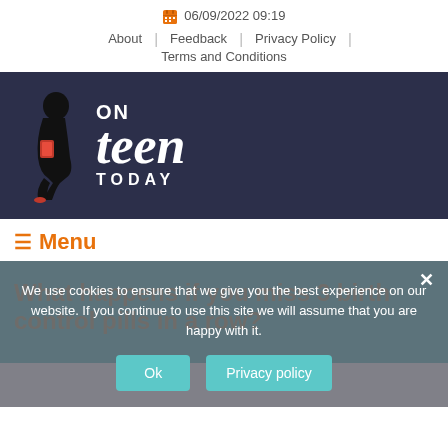06/09/2022 09:19
About | Feedback | Privacy Policy | Terms and Conditions
[Figure (logo): ON teen TODAY logo with silhouette figure on dark navy background]
≡ Menu
What happens if you miss 3 birth control pills in a row?
We use cookies to ensure that we give you the best experience on our website. If you continue to use this site we will assume that you are happy with it.
Ok  Privacy policy